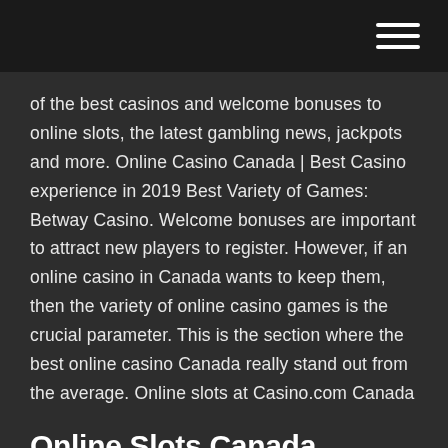of the best casinos and welcome bonuses to online slots, the latest gambling news, jackpots and more. Online Casino Canada | Best Casino experience in 2019 Best Variety of Games: Betway Casino. Welcome bonuses are important to attract new players to register. However, if an online casino in Canada wants to keep them, then the variety of online casino games is the crucial parameter. This is the section where the best online casino Canada really stand out from the average. Online slots at Casino.com Canada
Online Slots Canada. Online casinos didn't become as popular as they are today without having plenty of benefits for players.